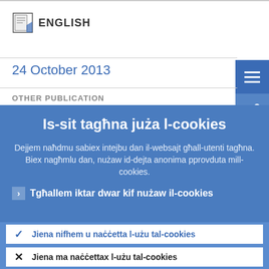ENGLISH
24 October 2013
OTHER PUBLICATION
Is-sit tagħna juża l-cookies
Dejjem naħdmu sabiex intejbu dan il-websajt għall-utenti tagħna. Biex nagħmlu dan, nużaw id-dejta anonima pprovduta mill-cookies.
Tgħallem iktar dwar kif nużaw il-cookies
Jiena nifhem u naċċetta l-użu tal-cookies
Jiena ma naċċettax l-użu tal-cookies